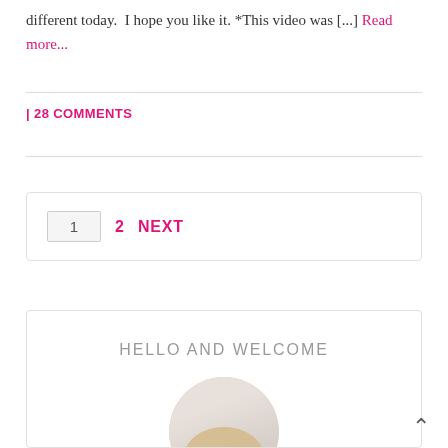different today.  I hope you like it. *This video was [...] Read more...
| 28 COMMENTS
1  2  NEXT
HELLO AND WELCOME
[Figure (photo): Circular cropped photo of a blonde person, partially visible, set inside a sidebar welcome widget]